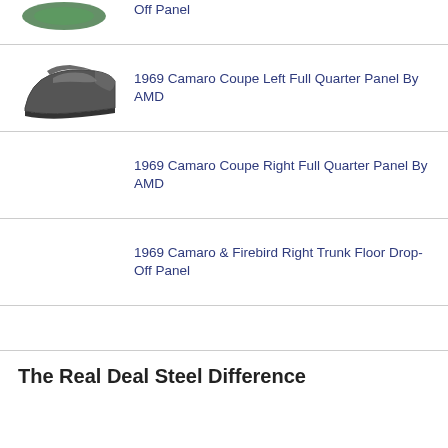Off Panel
1969 Camaro Coupe Left Full Quarter Panel By AMD
1969 Camaro Coupe Right Full Quarter Panel By AMD
1969 Camaro & Firebird Right Trunk Floor Drop-Off Panel
The Real Deal Steel Difference